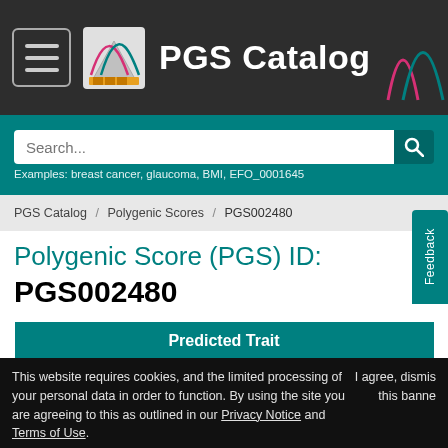PGS Catalog
Search... Examples: breast cancer, glaucoma, BMI, EFO_0001645
PGS Catalog / Polygenic Scores / PGS002480
Polygenic Score (PGS) ID: PGS002480
| Predicted Trait |
| --- |
| Reported Trait | Age of Menarche |
This website requires cookies, and the limited processing of your personal data in order to function. By using the site you are agreeing to this as outlined in our Privacy Notice and Terms of Use.